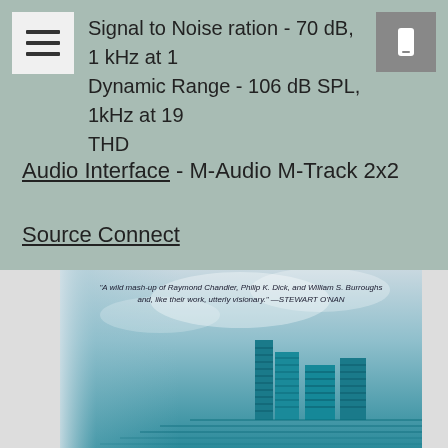Signal to Noise ration - 70 dB, 1 kHz at 1
Dynamic Range - 106 dB SPL, 1kHz at 19
THD
Audio Interface - M-Audio M-Track 2x2
Source Connect
[Figure (photo): Book cover image with a futuristic city skyline in teal/blue tones with a quote: 'A wild mash-up of Raymond Chandler, Philip K. Dick, and William S. Burroughs and, like their work, utterly visionary.' —STEWART O'NAN]